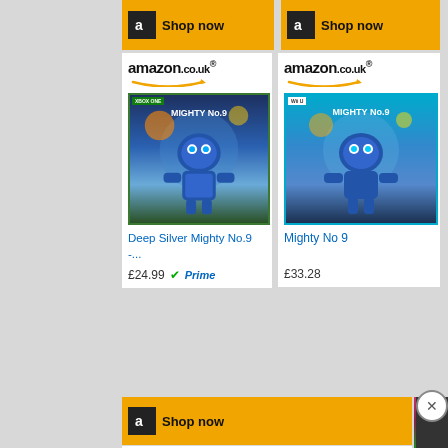[Figure (screenshot): Amazon.co.uk advertisement - two 'Shop now' buttons side by side with golden/amber background and Amazon 'a' logo]
[Figure (screenshot): Two Amazon.co.uk product cards showing Mighty No.9 game for Xbox One and Wii U with prices £24.99 (Prime) and £33.28]
[Figure (screenshot): Another Amazon Shop now button and partially visible 'Shop Now & Save' orange Amazon ad card at bottom left]
[Figure (screenshot): MallWall video overlay showing Kirby and the Forgotten Land promo with play button, text 'KIRBY AND THE FORGOTTEN LAND, WHAT WE KNOW' with close button]